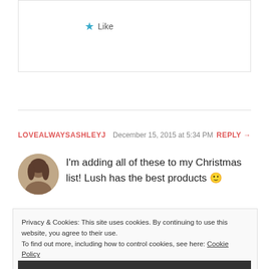[Figure (screenshot): Like button with blue star icon and text 'Like']
LOVEALWAYSASHLEYJ   December 15, 2015 at 5:34 PM   REPLY →
I'm adding all of these to my Christmas list! Lush has the best products 🙂
Privacy & Cookies: This site uses cookies. By continuing to use this website, you agree to their use.
To find out more, including how to control cookies, see here: Cookie Policy
Close and accept